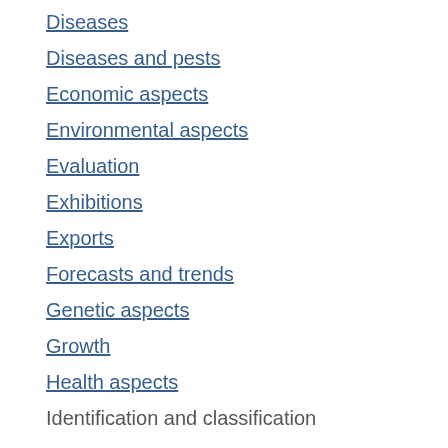Diseases
Diseases and pests
Economic aspects
Environmental aspects
Evaluation
Exhibitions
Exports
Forecasts and trends
Genetic aspects
Growth
Health aspects
Identification and classification